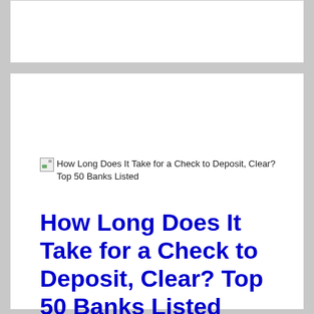[Figure (other): Top white panel area (empty/header region)]
[Figure (illustration): Broken image placeholder with alt text: How Long Does It Take for a Check to Deposit, Clear? Top 50 Banks Listed]
How Long Does It Take for a Check to Deposit, Clear? Top 50 Banks Listed
First Quarter Finance
How long does it take for check to clear anyway? In this post, you'll find the time it takes a check to clear at the top 50 banks and credit unions.